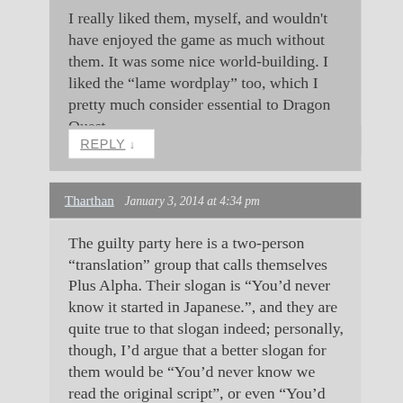I really liked them, myself, and wouldn't have enjoyed the game as much without them. It was some nice world-building. I liked the “lame wordplay” too, which I pretty much consider essential to Dragon Quest.
REPLY ↓
Tharthan  January 3, 2014 at 4:34 pm
The guilty party here is a two-person “translation” group that calls themselves Plus Alpha. Their slogan is “You’d never know it started in Japanese.”, and they are quite true to that slogan indeed; personally, though, I’d argue that a better slogan for them would be “You’d never know we read the original script”, or even “You’d never know it used to be enjoyable.” Better yet, “We don’t give two hoots about the games